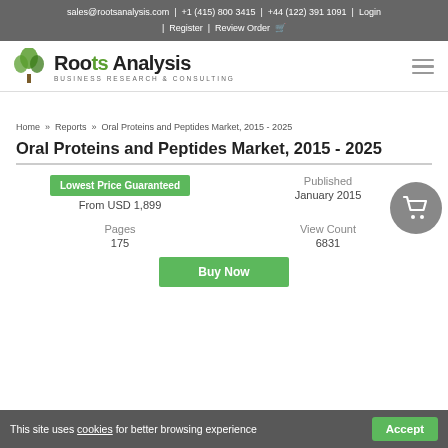sales@rootsanalysis.com | +1 (415) 800 3415 | +44 (122) 391 1091 | Login | Register | Review Order
[Figure (logo): Roots Analysis logo with tree icon and tagline BUSINESS RESEARCH & CONSULTING]
Home » Reports » Oral Proteins and Peptides Market, 2015 - 2025
Oral Proteins and Peptides Market, 2015 - 2025
Lowest Price Guaranteed
From USD 1,899
Published
January 2015
Pages
175
View Count
6831
Buy Now
This site uses cookies for better browsing experience Accept